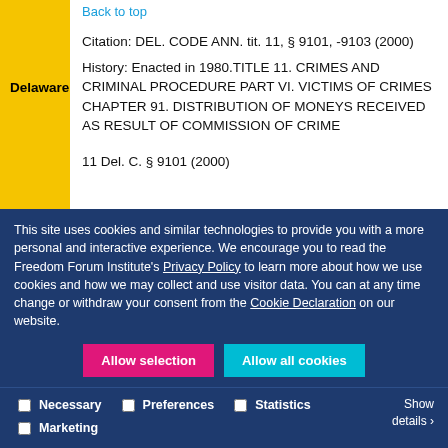Back to top
Delaware
Citation: DEL. CODE ANN. tit. 11, § 9101, -9103 (2000)
History: Enacted in 1980.TITLE 11. CRIMES AND CRIMINAL PROCEDURE PART VI. VICTIMS OF CRIMES CHAPTER 91. DISTRIBUTION OF MONEYS RECEIVED AS RESULT OF COMMISSION OF CRIME
11 Del. C. § 9101 (2000)
This site uses cookies and similar technologies to provide you with a more personal and interactive experience. We encourage you to read the Freedom Forum Institute's Privacy Policy to learn more about how we use cookies and how we may collect and use visitor data. You can at any time change or withdraw your consent from the Cookie Declaration on our website.
Allow selection
Allow all cookies
Necessary  Preferences  Statistics  Marketing  Show details